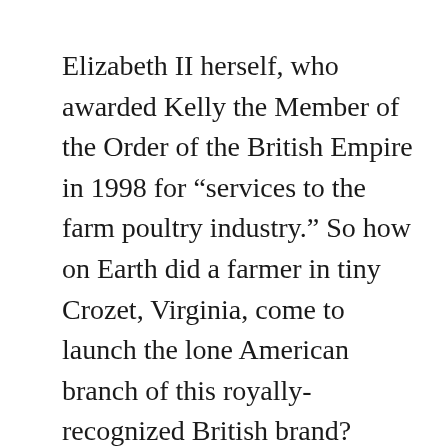Elizabeth II herself, who awarded Kelly the Member of the Order of the British Empire in 1998 for “services to the farm poultry industry.” So how on Earth did a farmer in tiny Crozet, Virginia, come to launch the lone American branch of this royally-recognized British brand?
“It was a perfect storm,” Culver explains.
After meeting at Virginia Tech, Culver and his wife, Cari, moved to Dundee, Scotland, where she